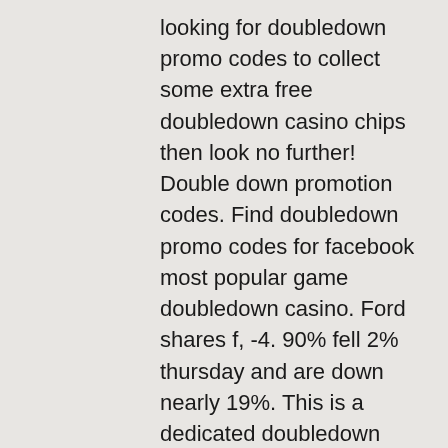looking for doubledown promo codes to collect some extra free doubledown casino chips then look no further! Double down promotion codes. Find doubledown promo codes for facebook most popular game doubledown casino. Ford shares f, -4. 90% fell 2% thursday and are down nearly 19%. This is a dedicated doubledown casino free chips page that eases the collection of daily bonuses instead of visiting many sites. Doubledown casino promo codes and free chips february 2022. How do you level up fast in doubledown casino? what are free chips? how much money does double. The latest double down casino promo codes ; xtxdhj, 200,000, claim now! ; wpjpgz, 200,000, claim now! ; tgfvmk, 250,000, claim now! ; bnwxcp
No deposit slots bonus is extremely easy to claim, double down casino chips. Here are a few steps gamblers need to take for